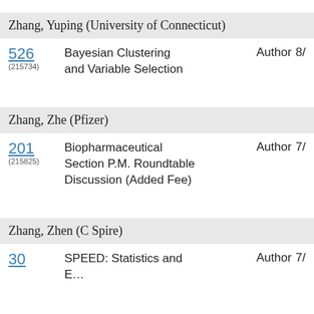Zhang, Yuping (University of Connecticut)
526 (215734) Bayesian Clustering and Variable Selection Author 8/
Zhang, Zhe (Pfizer)
201 (215825) Biopharmaceutical Section P.M. Roundtable Discussion (Added Fee) Author 7/
Zhang, Zhen (C Spire)
30 SPEED: Statistics and ... Author 7/